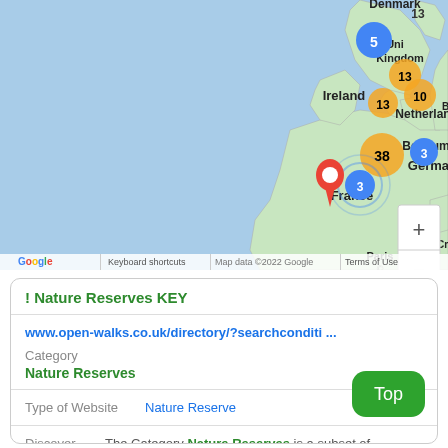[Figure (map): Google Maps screenshot showing Western Europe with cluster markers over UK/Ireland/Belgium area. Blue markers showing 5, 13, 3, 3, 13, 10, 3; yellow markers showing 38, 10, 13; red location pin over Ireland. Countries labeled: Ireland, United Kingdom, Netherlands, Belgium, Germany, France, Denmark. Paris, Berlin marked. Map data ©2022 Google. Keyboard shortcuts, Terms of Use footer. Google logo bottom left. Zoom +/- controls bottom right.]
| ! Nature Reserves KEY |  |
| www.open-walks.co.uk/directory/?searchconditi ... |  |
| Category | Nature Reserves |
| Type of Website | Nature Reserve |
| Discover | The Category Nature Reserves is a subset of |